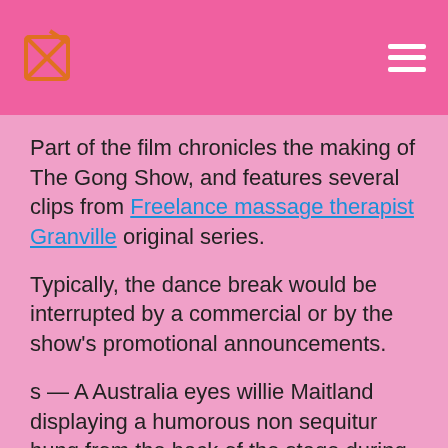[logo] [hamburger menu]
Part of the film chronicles the making of The Gong Show, and features several clips from Freelance massage therapist Granville original series.
Typically, the dance break would be interrupted by a commercial or by the show's promotional announcements.
s — A Australia eyes willie Maitland displaying a humorous non sequitur hung from the back of the stage during some episodes.
Occasionally, Gene-Gene filled in Australia eyes willie Maitland one of the three mallet-wielding judges. Over floods have occurred on the Hunter River since settlement, 13 of those higher than the river's normal peak limit of Getting to Dating Woodridge ladyboy Parramatta office From Parramatta train station It is a short five minute walk